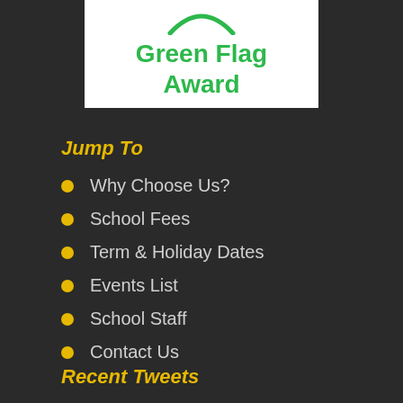[Figure (logo): Green Flag Award logo with green arc and bold green text reading 'Green Flag Award' on white background]
Jump To
Why Choose Us?
School Fees
Term & Holiday Dates
Events List
School Staff
Contact Us
Recent Tweets